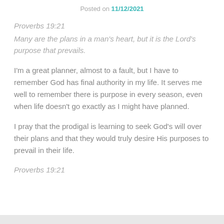Posted on 11/12/2021
Proverbs 19:21
Many are the plans in a man's heart, but it is the Lord's purpose that prevails.
I'm a great planner, almost to a fault, but I have to remember God has final authority in my life. It serves me well to remember there is purpose in every season, even when life doesn't go exactly as I might have planned.
I pray that the prodigal is learning to seek God's will over their plans and that they would truly desire His purposes to prevail in their life.
Proverbs 19:21